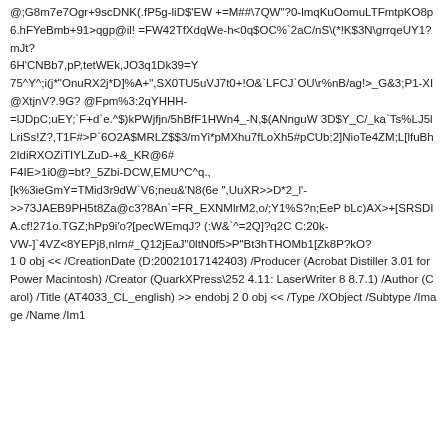@;G8m7e7Ogr+9scDNK(.fP5g-liD$'EW +=M##\7QW"?0-lmqKuOomuLTFmtpKO8p6.hFYeBmb+91>qgp@il! =FW42TfXdqWe-h<0q$OC%`2aC/nS\(*!K$3N\grrqeUY1?mJt?
6H'CNBb7,pP,tetWEk,JO3q1Dk39=Y
75^Y^;i(j*"OnuRX2j*D]%A+",SX0TU5uVJ7t0+!O&`LFCJ`OU\r%nB/ag!>_G&3;P1-XI@XtjnV?.9G? @Fpm%3:2qYHHH-
=lJDpC;uEY;`F+d`e.^$)kPWjfjn/5hBfF1HWn4_-N,$(ANnguW 3D$Y_C/_ka`Ts%LJ5lLriSs!Z?,T1F#>P`6O2A$MRLZ$$3/mYi*pMXhu7fLoXh5#pCUb;2]NioTe4ZM;L[lfuBh2IdiRXOZiTIYLZuD-+&_KR@6#
F4IE>1i0@=bt?_5Zbi-DCW,EMU^C^q.,
[k%3ieGmY=TMid3r9dW`V6;neu&'N8(6e ",UuXR>>D*2_l'-
>>73JAEB9PH5t8Za@c3?8An`=FR_EXNMlrM2,o/;Y1%S?n;EeP bLc)AX>+[SRSDIA.cf!271o.TGZ;hPp9i'o?[pecWEmqJ? (:W&`^=2Q]?q2C C:20k-
VW-]`4VZ<8YEPj8,nlrn#_Q12jEaJ"0ltN0f5>P"Bt3hTHOMb1[Zk8P?kO?
1 0 obj << /CreationDate (D:20021017142403) /Producer (Acrobat Distiller 3.01 for Power Macintosh) /Creator (QuarkXPress\252 4.11: LaserWriter 8 8.7.1) /Author (Carol) /Title (AT4033_CL_english) >> endobj 2 0 obj << /Type /XObject /Subtype /Image /Name /Im1